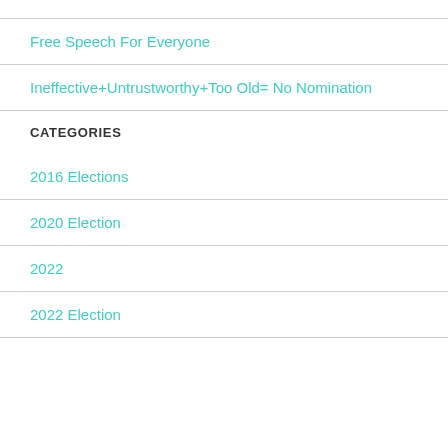Free Speech For Everyone
Ineffective+Untrustworthy+Too Old= No Nomination
CATEGORIES
2016 Elections
2020 Election
2022
2022 Election